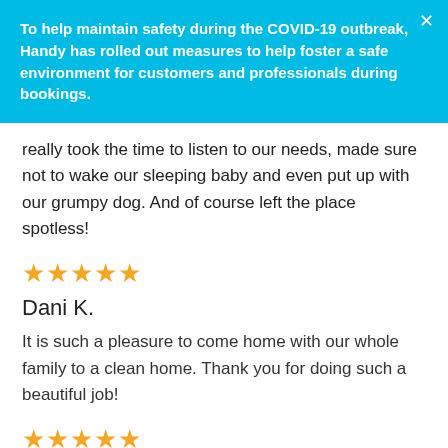To help maintain safety during the COVID-19 outbreak, Handy has rolled out measures to help foster a safe environment for customers and professionals during bookings.
really took the time to listen to our needs, made sure not to wake our sleeping baby and even put up with our grumpy dog. And of course left the place spotless!
[Figure (other): Five gold star rating]
Dani K.
It is such a pleasure to come home with our whole family to a clean home. Thank you for doing such a beautiful job!
[Figure (other): Five gold star rating]
Camille C.
She does a very good job and also interacts with my